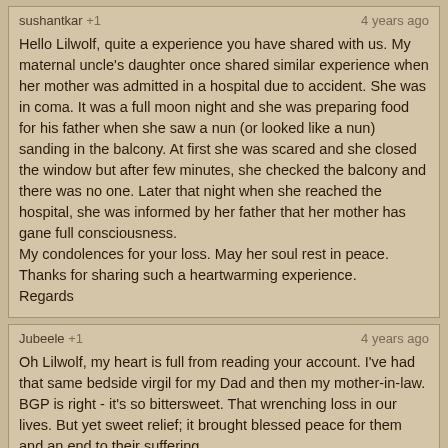sushantkar +1 | 4 years ago
Hello Lilwolf, quite a experience you have shared with us. My maternal uncle's daughter once shared similar experience when her mother was admitted in a hospital due to accident. She was in coma. It was a full moon night and she was preparing food for his father when she saw a nun (or looked like a nun) sanding in the balcony. At first she was scared and she closed the window but after few minutes, she checked the balcony and there was no one. Later that night when she reached the hospital, she was informed by her father that her mother has gane full consciousness.
My condolences for your loss. May her soul rest in peace.
Thanks for sharing such a heartwarming experience.
Regards
Jubeele +1 | 4 years ago
Oh Lilwolf, my heart is full from reading your account. I've had that same bedside virgil for my Dad and then my mother-in-law. BGP is right - it's so bittersweet. That wrenching loss in our lives. But yet sweet relief; it brought blessed peace for them and an end to their suffering.